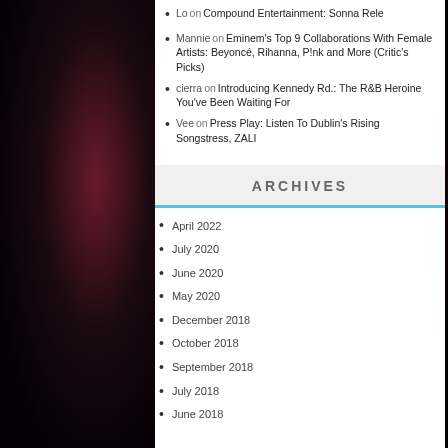Lo on Compound Entertainment: Sonna Rele
Mannie on Eminem's Top 9 Collaborations With Female Artists: Beyoncé, Rihanna, P!nk and More (Critic's Picks)
cierra on Introducing Kennedy Rd.: The R&B Heroine You've Been Waiting For
Vee on Press Play: Listen To Dublin's Rising Songstress, ZALI
ARCHIVES
April 2022
July 2020
June 2020
May 2020
December 2018
October 2018
September 2018
July 2018
June 2018